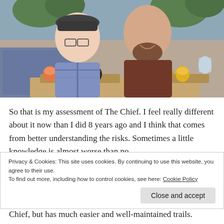[Figure (photo): Two people smiling at a brewery table with a beer flight sampler paddle in front of them. Woman on left wearing glasses and a plaid flannel shirt; man on right wearing a dark red/maroon top. Plants and brewery equipment visible in background.]
So that is my assessment of The Chief. I feel really different about it now than I did 8 years ago and I think that comes from better understanding the risks. Sometimes a little knowledge is almost worse than no
Privacy & Cookies: This site uses cookies. By continuing to use this website, you agree to their use.
To find out more, including how to control cookies, see here: Cookie Policy
Close and accept
Chief, but has much easier and well-maintained trails.